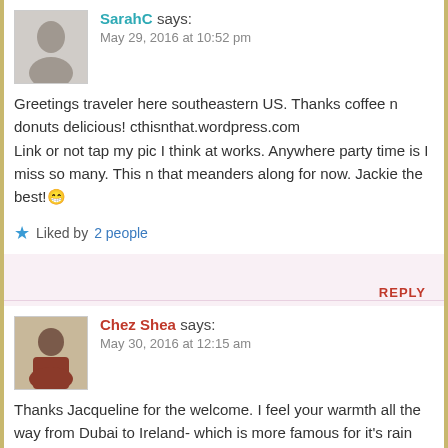SarahC says:
May 29, 2016 at 10:52 pm
Greetings traveler here southeastern US. Thanks coffee n donuts delicious! cthisnthat.wordpress.com
Link or not tap my pic I think at works. Anywhere party time is I miss so many. This n that meanders along for now. Jackie the best!😁
Liked by 2 people
REPLY
Chez Shea says:
May 30, 2016 at 12:15 am
Thanks Jacqueline for the welcome. I feel your warmth all the way from Dubai to Ireland- which is more famous for it's rain than anything else?!!
This is the link to my blog. I started it earlier this year.
https://chezsheasite.wordpress.com/
Just love this blogging community.
Like